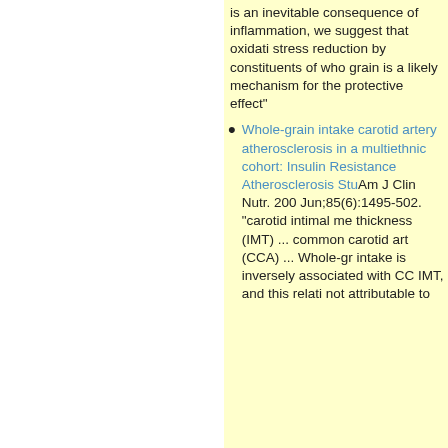is an inevitable consequence of inflammation, we suggest that oxidative stress reduction by constituents of whole grain is a likely mechanism for the protective effect"
Whole-grain intake carotid artery atherosclerosis in a multiethnic cohort: Insulin Resistance Atherosclerosis Study. Am J Clin Nutr. 2007 Jun;85(6):1495-502. "carotid intimal medial thickness (IMT) ... common carotid artery (CCA) ... Whole-grain intake is inversely associated with CCA-IMT, and this relation is not attributable to